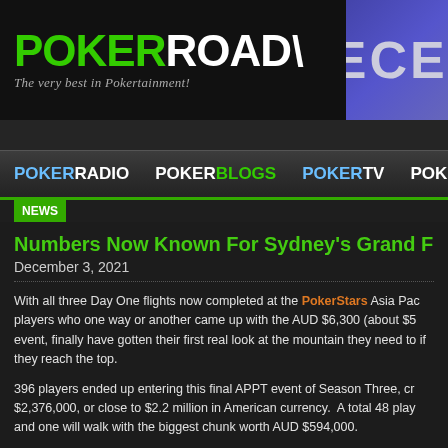[Figure (logo): PokerRoad logo with green POKER and white ROAD text, tagline 'The very best in Pokertainment!']
[Figure (screenshot): Dark blue/purple banner with large white text 'RECEIV' (truncated)]
POKERRADIO  POKERBLOGS  POKERTV  POKER
Numbers Now Known For Sydney's Grand Fina
December 3, 2021
With all three Day One flights now completed at the PokerStars Asia Pac players who one way or another came up with the AUD $6,300 (about $5 event, finally have gotten their first real look at the mountain they need to if they reach the top.
396 players ended up entering this final APPT event of Season Three, cr $2,376,000, or close to $2.2 million in American currency.  A total 48 play and one will walk with the biggest chunk worth AUD $594,000.